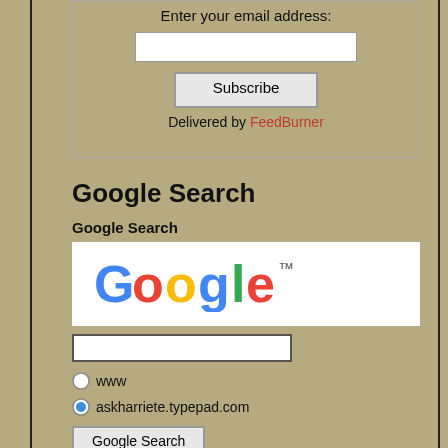Enter your email address:
[Figure (screenshot): Email input field (white rectangle)]
[Figure (screenshot): Subscribe button]
Delivered by FeedBurner
Google Search
Google Search
[Figure (logo): Google logo in white box]
[Figure (screenshot): Google search input field]
www
askharriete.typepad.com
[Figure (screenshot): Google Search button]